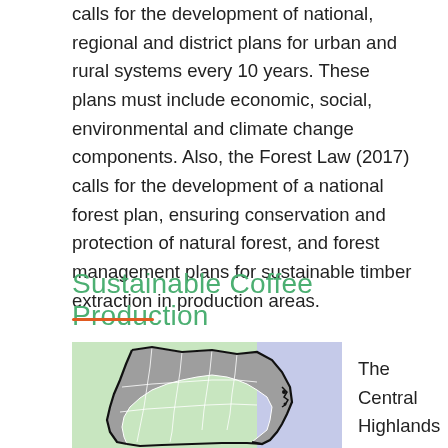calls for the development of national, regional and district plans for urban and rural systems every 10 years. These plans must include economic, social, environmental and climate change components. Also, the Forest Law (2017) calls for the development of a national forest plan, ensuring conservation and protection of natural forest, and forest management plans for sustainable timber extraction in production areas.
Sustainable Coffee Production
[Figure (map): Map of Central Highlands region showing districts and surrounding areas. Left portion has light green background, right portion has light purple/lavender background. Districts shown in gray with white borders and thick black outer boundary.]
The Central Highlands is the main